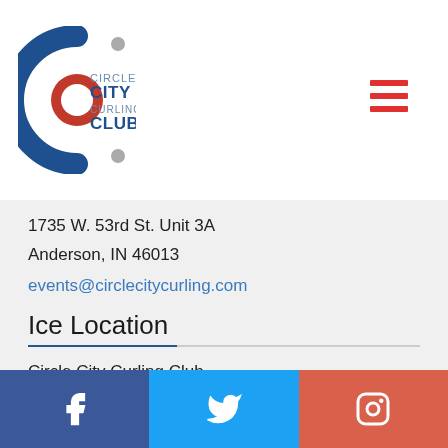[Figure (logo): Circle City Curling Club logo with blue C shape, red circle target, gray dots, and text 'CIRCLE CITY CURLING CLUB']
1735 W. 53rd St. Unit 3A
Anderson, IN 46013
events@circlecitycurling.com
Ice Location
Circle City Curling Club
1735 W. 53rd St. Unit 3A
Anderson, IN 46013
MAP
[Figure (infographic): Social media footer bar with Facebook, Twitter, and Instagram icons on blue, light blue, and red-orange backgrounds respectively]